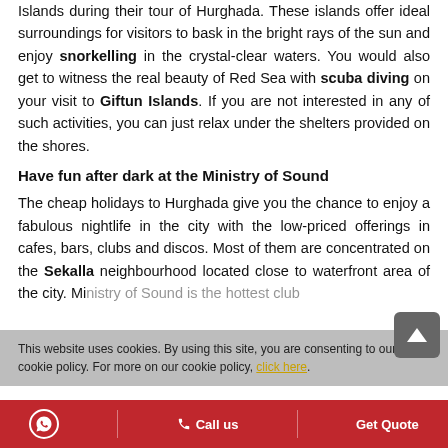Islands during their tour of Hurghada. These islands offer ideal surroundings for visitors to bask in the bright rays of the sun and enjoy snorkelling in the crystal-clear waters. You would also get to witness the real beauty of Red Sea with scuba diving on your visit to Giftun Islands. If you are not interested in any of such activities, you can just relax under the shelters provided on the shores.
Have fun after dark at the Ministry of Sound
The cheap holidays to Hurghada give you the chance to enjoy a fabulous nightlife in the city with the low-priced offerings in cafes, bars, clubs and discos. Most of them are concentrated on the Sekalla neighbourhood located close to waterfront area of the city. Ministry of Sound is the hottest club
This website uses cookies. By using this site, you are consenting to our cookie policy. For more on our cookie policy, click here.